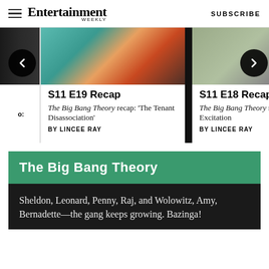Entertainment Weekly | SUBSCRIBE
[Figure (photo): Carousel with two article cards showing Big Bang Theory scenes. Left card: S11 E19 Recap - characters on couch. Right card: S11 E18 Recap - character standing. Navigation arrows visible.]
S11 E19 Recap
The Big Bang Theory recap: 'The Tenant Disassociation'
BY LINCEE RAY
S11 E18 Recap
The Big Bang Theory recap: 'The Gates Excitation'
BY LINCEE RAY
The Big Bang Theory
Sheldon, Leonard, Penny, Raj, and Wolowitz, Amy, Bernadette—the gang keeps growing. Bazinga!